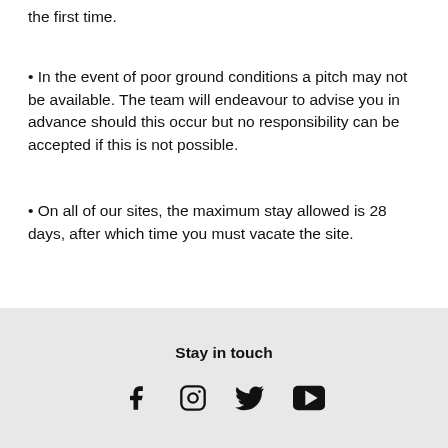the first time.
• In the event of poor ground conditions a pitch may not be available. The team will endeavour to advise you in advance should this occur but no responsibility can be accepted if this is not possible.
• On all of our sites, the maximum stay allowed is 28 days, after which time you must vacate the site.
Stay in touch [Facebook, Instagram, Twitter, YouTube icons]